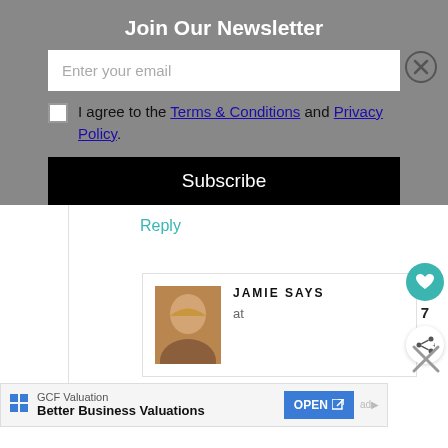Join Our Newsletter
Enter your email
I agree to the Terms & Conditions and Privacy Policy.
Subscribe
Reply
JAMIE SAYS
at
7
GCF Valuation
Better Business Valuations
OPEN